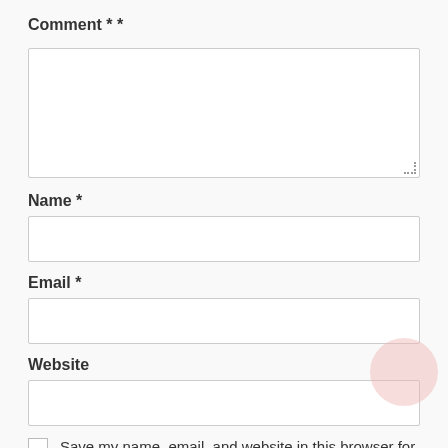Comment * *
Name *
Email *
Website
Save my name, email, and website in this browser for the next time I comment.